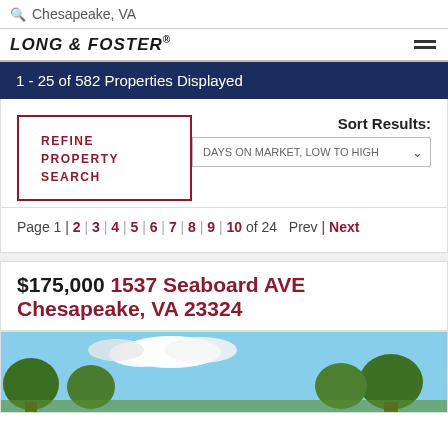Chesapeake, VA
LONG & FOSTER®
1 - 25 of 582 Properties Displayed
REFINE PROPERTY SEARCH
Sort Results: DAYS ON MARKET, LOW TO HIGH
Page 1 | 2 | 3 | 4 | 5 | 6 | 7 | 8 | 9 | 10 of 24  Prev | Next
$175,000 1537 Seaboard AVE Chesapeake, VA 23324
[Figure (photo): Exterior photo of property at 1537 Seaboard AVE showing blue sky with clouds and trees]